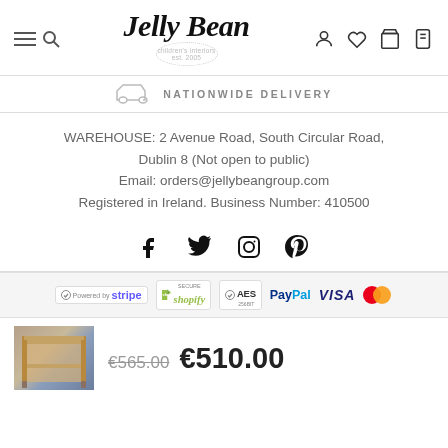[Figure (logo): Jelly Bean children's interiors logo with dotted circle, est 2005]
NATIONWIDE DELIVERY
WAREHOUSE: 2 Avenue Road, South Circular Road, Dublin 8 (Not open to public)
Email: orders@jellybeangroup.com
Registered in Ireland. Business Number: 410500
[Figure (infographic): Social media icons: Facebook, Twitter, Instagram, Pinterest]
[Figure (infographic): Payment badges: Stripe, Shopify Secure, AES 256bit, PayPal, VISA, Mastercard]
[Figure (photo): Thumbnail of a wooden bunk bed]
€565.00  €510.00